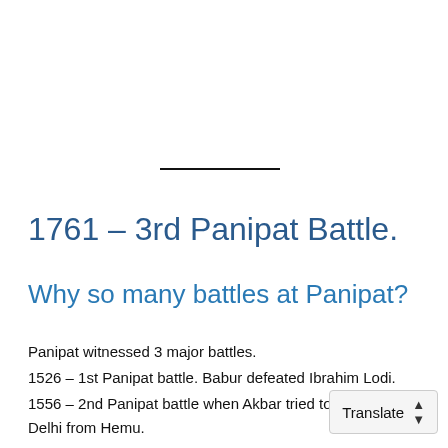1761 – 3rd Panipat Battle.
Why so many battles at Panipat?
Panipat witnessed 3 major battles.
1526 – 1st Panipat battle. Babur defeated Ibrahim Lodi.
1556 – 2nd Panipat battle when Akbar tried to recapture Delhi from Hemu.
1761 – 3rd Panipat battle where Marathas were defeated by
Translate